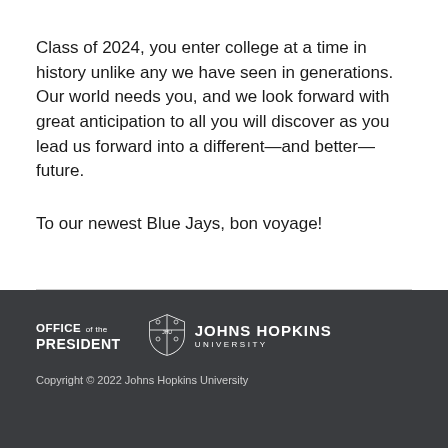Class of 2024, you enter college at a time in history unlike any we have seen in generations. Our world needs you, and we look forward with great anticipation to all you will discover as you lead us forward into a different—and better—future.
To our newest Blue Jays, bon voyage!
OFFICE of the PRESIDENT | JOHNS HOPKINS UNIVERSITY | Copyright © 2022 Johns Hopkins University